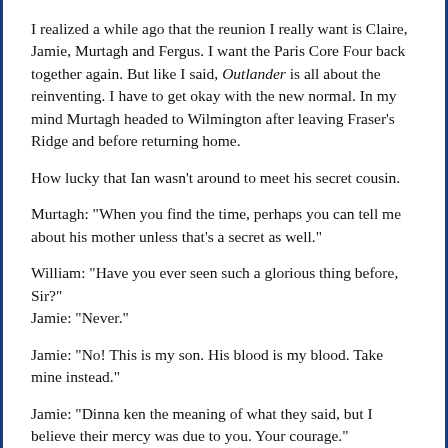I realized a while ago that the reunion I really want is Claire, Jamie, Murtagh and Fergus. I want the Paris Core Four back together again. But like I said, Outlander is all about the reinventing. I have to get okay with the new normal. In my mind Murtagh headed to Wilmington after leaving Fraser's Ridge and before returning home.
How lucky that Ian wasn't around to meet his secret cousin.
Murtagh: "When you find the time, perhaps you can tell me about his mother unless that's a secret as well."
William: "Have you ever seen such a glorious thing before, Sir?"
Jamie: "Never."
Jamie: "No! This is my son. His blood is my blood. Take mine instead."
Jamie: "Dinna ken the meaning of what they said, but I believe their mercy was due to you. Your courage."
And then all the fatherly pride that has ever existed poured straight out his face.
John: "I don't believe I've ever met someone so devastatingly